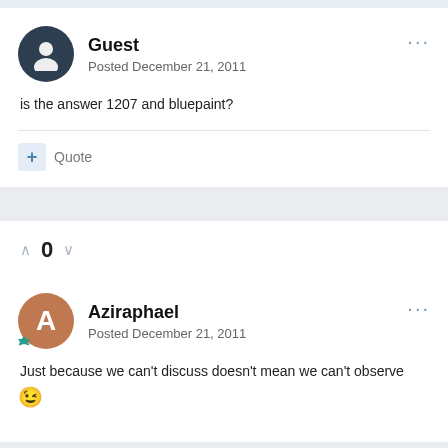Guest
Posted December 21, 2011
is the answer 1207 and bluepaint?
+ Quote
0
Aziraphael
Posted December 21, 2011
Just because we can't discuss doesn't mean we can't observe